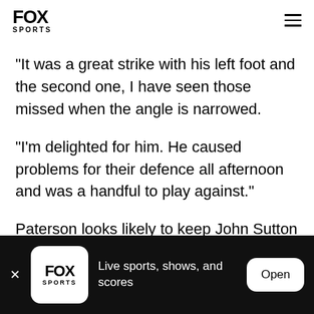FOX SPORTS
"It was a great strike with his left foot and the second one, I have seen those missed when the angle is narrowed.
"I'm delighted for him. He caused problems for their defence all afternoon and was a handful to play against."
Paterson looks likely to keep John Sutton out of the
Live sports, shows, and scores